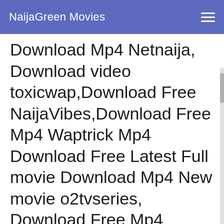NaijaGreen Movies
Download Mp4 Netnaija, Download video toxicwap,Download Free NaijaVibes,Download Free Mp4 Waptrick Mp4 Download Free Latest Full movie Download Mp4 New movie o2tvseries, Download Free Mp4 tvshows4mobile, Download Free Mp4 foxmovies, waphaze.com |